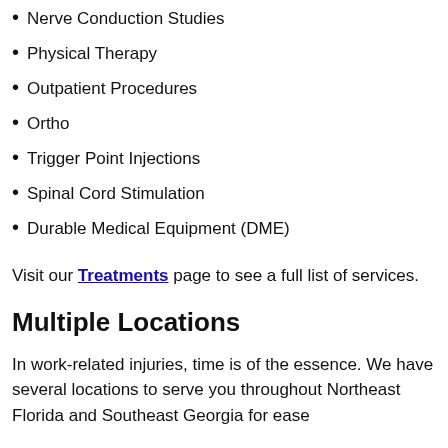Nerve Conduction Studies
Physical Therapy
Outpatient Procedures
Ortho
Trigger Point Injections
Spinal Cord Stimulation
Durable Medical Equipment (DME)
Visit our Treatments page to see a full list of services.
Multiple Locations
In work-related injuries, time is of the essence. We have several locations to serve you throughout Northeast Florida and Southeast Georgia for ease